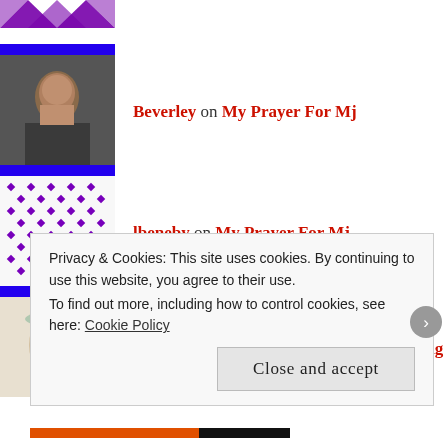Beverley on My Prayer For Mj
lbeneby on My Prayer For Mj
M. L. Kappa on Mj, Hubby, and Elearning
NickyB. on Mj, Hubby, and Elearning
Privacy & Cookies: This site uses cookies. By continuing to use this website, you agree to their use.
To find out more, including how to control cookies, see here: Cookie Policy
Close and accept